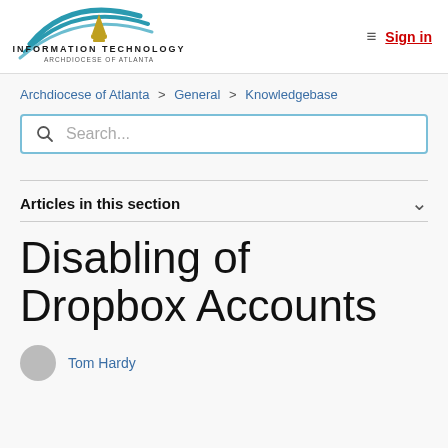[Figure (logo): Information Technology Archdiocese of Atlanta logo with teal arch swooshes and bishop hat icon]
Sign in
Archdiocese of Atlanta > General > Knowledgebase
Search...
Articles in this section
Disabling of Dropbox Accounts
Tom Hardy